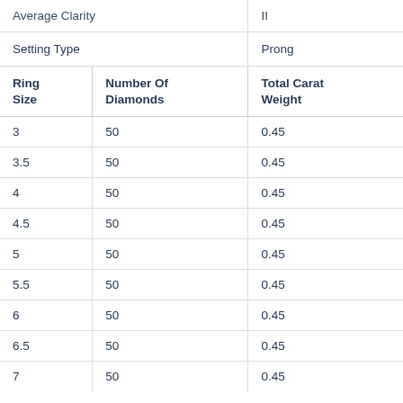| Ring Size | Number Of Diamonds | Total Carat Weight |
| --- | --- | --- |
| Average Clarity |  | II |
| Setting Type |  | Prong |
| 3 | 50 | 0.45 |
| 3.5 | 50 | 0.45 |
| 4 | 50 | 0.45 |
| 4.5 | 50 | 0.45 |
| 5 | 50 | 0.45 |
| 5.5 | 50 | 0.45 |
| 6 | 50 | 0.45 |
| 6.5 | 50 | 0.45 |
| 7 | 50 | 0.45 |